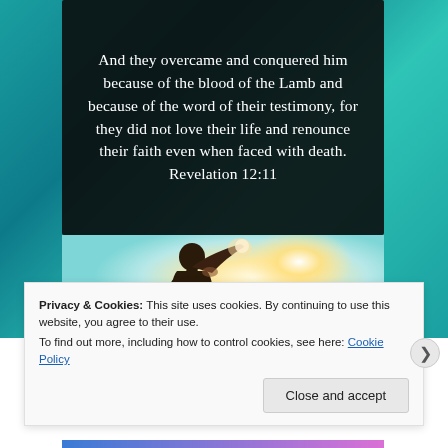And they overcame and conquered him because of the blood of the Lamb and because of the word of their testimony, for they did not love their life and renounce their faith even when faced with death. Revelation 12:11
[Figure (photo): Silhouette of a person raising their fist against a bright glowing light/sun background]
Privacy & Cookies: This site uses cookies. By continuing to use this website, you agree to their use.
To find out more, including how to control cookies, see here: Cookie Policy
Close and accept